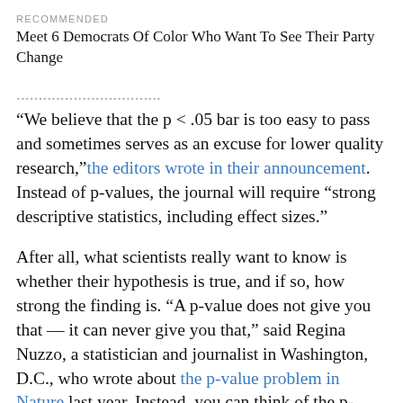RECOMMENDED
Meet 6 Democrats Of Color Who Want To See Their Party Change
“We believe that the p < .05 bar is too easy to pass and sometimes serves as an excuse for lower quality research,” the editors wrote in their announcement. Instead of p-values, the journal will require “strong descriptive statistics, including effect sizes.”
After all, what scientists really want to know is whether their hypothesis is true, and if so, how strong the finding is. “A p-value does not give you that — it can never give you that,” said Regina Nuzzo, a statistician and journalist in Washington, D.C., who wrote about the p-value problem in Nature last year. Instead, you can think of the p-value as an index of surprise. How surprising would these results be if you assumed your hypothesis was false?